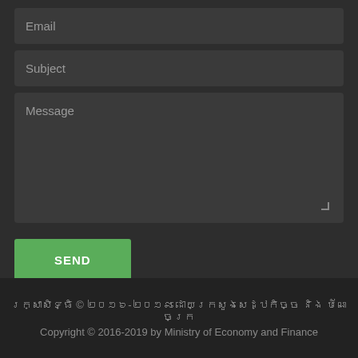Email
Subject
Message
SEND
រក្សាសិទ្ធិ © ២០១៦-២០១៩ ដោយក្រសួងសេដ្ឋកិច្ច និង បំណែចក្រ
Copyright © 2016-2019 by Ministry of Economy and Finance